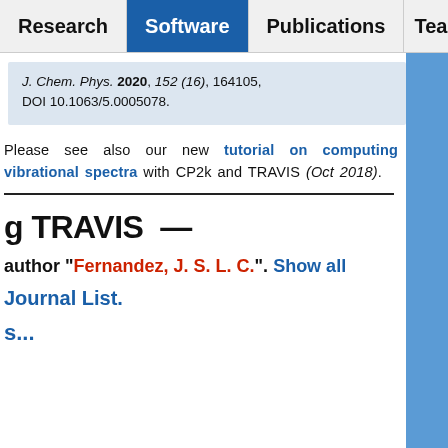Research | Software | Publications | Tea...
J. Chem. Phys. 2020, 152 (16), 164105, DOI 10.1063/5.0005078.
Please see also our new tutorial on computing vibrational spectra with CP2k and TRAVIS (Oct 2018).
g TRAVIS —
author "Fernandez, J. S. L. C.". Show all
Journal List.
s...